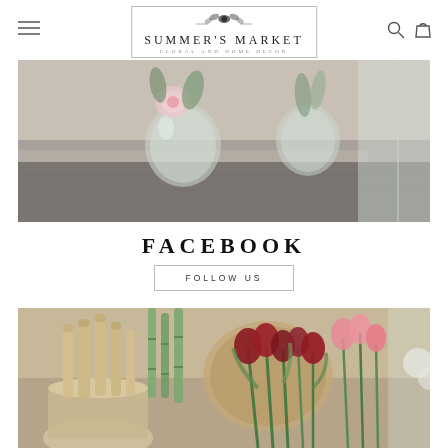Summer's Market — Floral and Home Decor
[Figure (photo): Close-up of a wooden box/shelf with glass vases containing pink flowers and greenery, soft natural light]
FACEBOOK
FOLLOW US
[Figure (photo): Rustic market scene with wooden mortar and pestles, bamboo shoots, large wooden bowl, and red and pink tulip bouquets on a table]